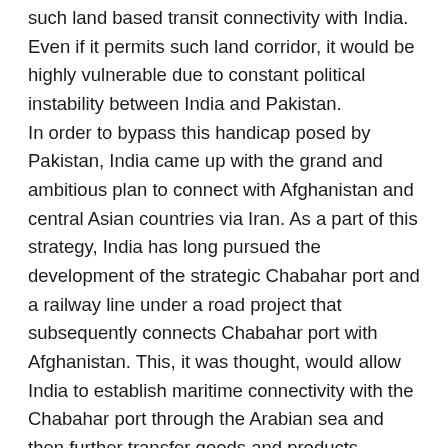such land based transit connectivity with India. Even if it permits such land corridor, it would be highly vulnerable due to constant political instability between India and Pakistan. In order to bypass this handicap posed by Pakistan, India came up with the grand and ambitious plan to connect with Afghanistan and central Asian countries via Iran. As a part of this strategy, India has long pursued the development of the strategic Chabahar port and a railway line under a road project that subsequently connects Chabahar port with Afghanistan. This, it was thought, would allow India to establish maritime connectivity with the Chabahar port through the Arabian sea and then further transfer goods and products through the land route all the way up to Zahedan, which is an Iranian border town located at its borders with Afghanistan. From here, the road and rail corridor will connect with Afghanistan's border town Zaranj, which is already a part of the Zaranj-Daleram Highway that has